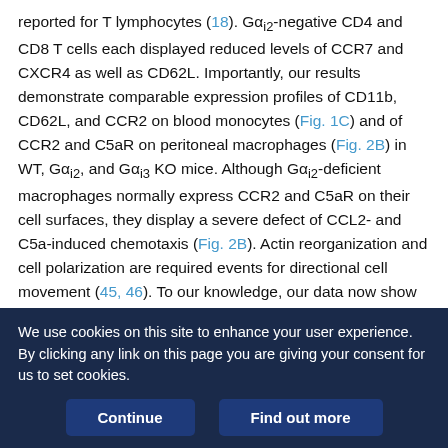reported for T lymphocytes (18). Gαi2-negative CD4 and CD8 T cells each displayed reduced levels of CCR7 and CXCR4 as well as CD62L. Importantly, our results demonstrate comparable expression profiles of CD11b, CD62L, and CCR2 on blood monocytes (Fig. 1C) and of CCR2 and C5aR on peritoneal macrophages (Fig. 2B) in WT, Gαi2, and Gαi3 KO mice. Although Gαi2-deficient macrophages normally express CCR2 and C5aR on their cell surfaces, they display a severe defect of CCL2- and C5a-induced chemotaxis (Fig. 2B). Actin reorganization and cell polarization are required events for directional cell movement (45, 46). To our knowledge, our data now show for the first time that both C5a-induced remodeling of the actin cytoskeleton and chemotaxis are strictly dependent on the presence of Gαi2 in
We use cookies on this site to enhance your user experience. By clicking any link on this page you are giving your consent for us to set cookies.